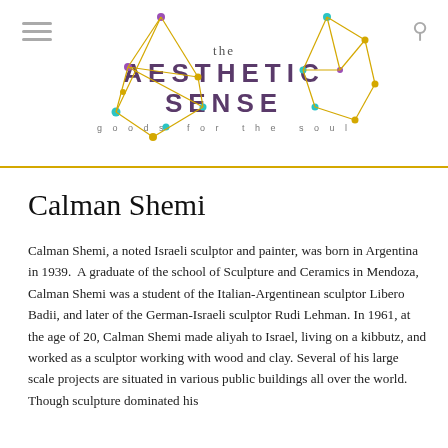the AESTHETIC SENSE — goods for the soul
Calman Shemi
Calman Shemi, a noted Israeli sculptor and painter, was born in Argentina in 1939.  A graduate of the school of Sculpture and Ceramics in Mendoza, Calman Shemi was a student of the Italian-Argentinean sculptor Libero Badii, and later of the German-Israeli sculptor Rudi Lehman. In 1961, at the age of 20, Calman Shemi made aliyah to Israel, living on a kibbutz, and worked as a sculptor working with wood and clay. Several of his large scale projects are situated in various public buildings all over the world. Though sculpture dominated his